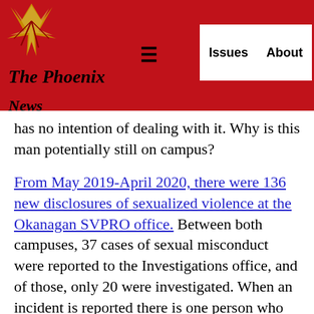The Phoenix News — Issues | About
has no intention of dealing with it. Why is this man potentially still on campus?
From May 2019-April 2020, there were 136 new disclosures of sexualized violence at the Okanagan SVPRO office. Between both campuses, 37 cases of sexual misconduct were reported to the Investigations office, and of those, only 20 were investigated. When an incident is reported there is one person who decides if the investigation moves forward or not. Mr. Skolski with UBC, when asked why there is only one person who decides what